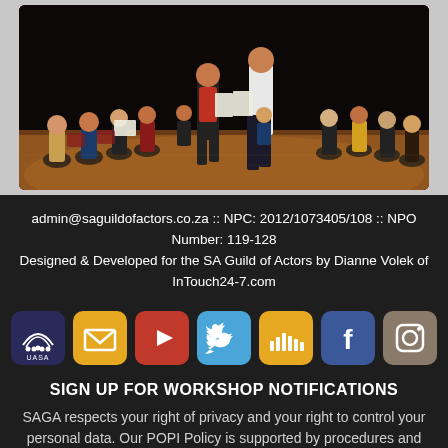[Figure (photo): Workshop/rehearsal scene with actors sitting in a circle on a wooden stage floor, two performers standing in the center holding papers, dark theatre background.]
admin@saguildofactors.co.za :: NPC: 2012/1073405/108 :: NPO Number: 119-128
Designed & Developed for the SA Guild of Actors by Dianne Volek of InTouch24-7.com
[Figure (illustration): Row of social media / affiliate icon buttons: UASA logo, envelope/email, YouTube play button, Twitter bird, SoundCloud bars, Facebook f, Instagram camera]
SIGN UP FOR WORKSHOP NOTIFICATIONS
SAGA respects your right of privacy and your right to control your personal data. Our POPI Policy is supported by procedures and standards that are based on best practice. These are reviewed regularly